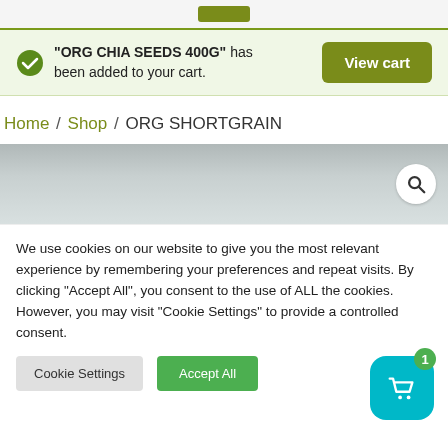[Figure (screenshot): Top navigation bar with olive/dark yellow button]
“ORG CHIA SEEDS 400G” has been added to your cart.
View cart
Home / Shop / ORG SHORTGRAIN
[Figure (screenshot): Product image area with grey gradient background and search icon button]
We use cookies on our website to give you the most relevant experience by remembering your preferences and repeat visits. By clicking “Accept All”, you consent to the use of ALL the cookies. However, you may visit “Cookie Settings” to provide a controlled consent.
Cookie Settings
Accept All